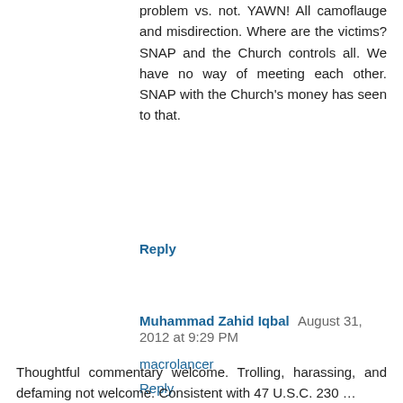problem vs. not. YAWN! All camoflauge and misdirection. Where are the victims? SNAP and the Church controls all. We have no way of meeting each other. SNAP with the Church's money has seen to that.
Reply
Muhammad Zahid Iqbal August 31, 2012 at 9:29 PM
macrolancer
Reply
Enter Comment
Thoughtful commentary welcome. Trolling, harassing, and defaming not welcome. Consistent with 47 U.S.C. 230 …